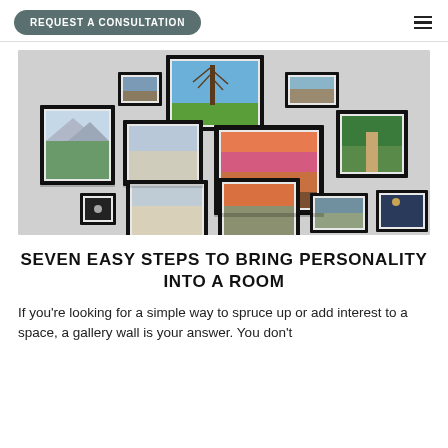REQUEST A CONSULTATION
[Figure (photo): Gallery wall with multiple framed photographs arranged in a collage on a light gray wall]
SEVEN EASY STEPS TO BRING PERSONALITY INTO A ROOM
If you're looking for a simple way to spruce up or add interest to a space, a gallery wall is your answer. You don't